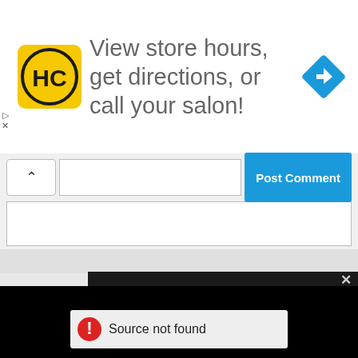[Figure (screenshot): Advertisement banner: HC logo (yellow square with HC in black), text 'View store hours, get directions, or call your salon!', blue navigation diamond icon on the right]
[Figure (screenshot): Comment bar UI with caret/up arrow button, text input area, and blue 'Post Comment' button]
[Figure (screenshot): Black video player area showing error message 'Source not found' with red warning icon, and a close X button in the top right corner]